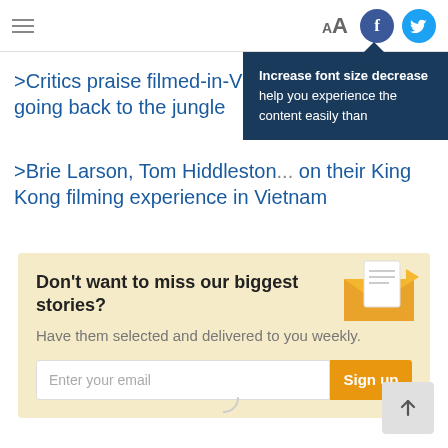Navigation bar with hamburger menu, font size control (Aa), Facebook and Twitter icons
[Figure (screenshot): Tooltip overlay reading: Increase font size decrease help you experience the content easily than]
>Critics praise filmed-in-Vietnam... going back to the jungle
>Brie Larson, Tom Hiddleston... on their King Kong filming experience in Vietnam
Don't want to miss our biggest stories? Have them selected and delivered to you weekly.
Enter your email  Sign up